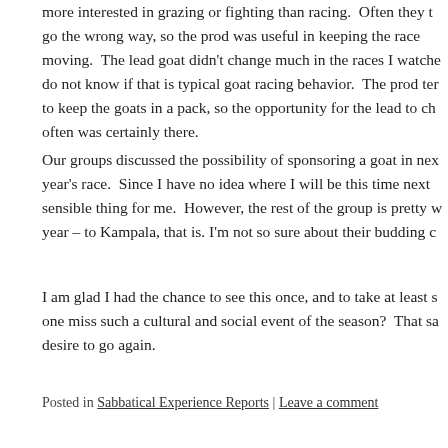more interested in grazing or fighting than racing. Often they to go the wrong way, so the prod was useful in keeping the race moving. The lead goat didn't change much in the races I watche do not know if that is typical goat racing behavior. The prod ter to keep the goats in a pack, so the opportunity for the lead to ch often was certainly there.
Our groups discussed the possibility of sponsoring a goat in nex year's race. Since I have no idea where I will be this time next sensible thing for me. However, the rest of the group is pretty w year – to Kampala, that is. I'm not so sure about their budding c
I am glad I had the chance to see this once, and to take at least s one miss such a cultural and social event of the season? That sa desire to go again.
Posted in Sabbatical Experience Reports | Leave a comment